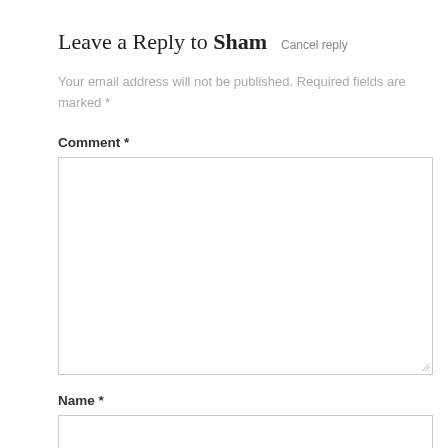Leave a Reply to Sham   Cancel reply
Your email address will not be published. Required fields are marked *
Comment *
Name *